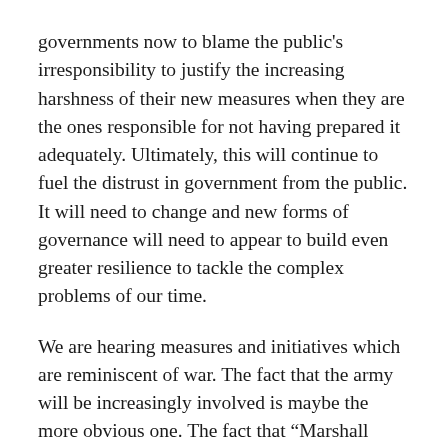governments now to blame the public's irresponsibility to justify the increasing harshness of their new measures when they are the ones responsible for not having prepared it adequately. Ultimately, this will continue to fuel the distrust in government from the public. It will need to change and new forms of governance will need to appear to build even greater resilience to tackle the complex problems of our time.
We are hearing measures and initiatives which are reminiscent of war. The fact that the army will be increasingly involved is maybe the more obvious one. The fact that “Marshall Plan”-like stimulus are being thought of as well. For me the most striking thought is calling on the private sector to re-focus their production on the shortages we have accumulated over the years to fight such a pandemic. Again, the private